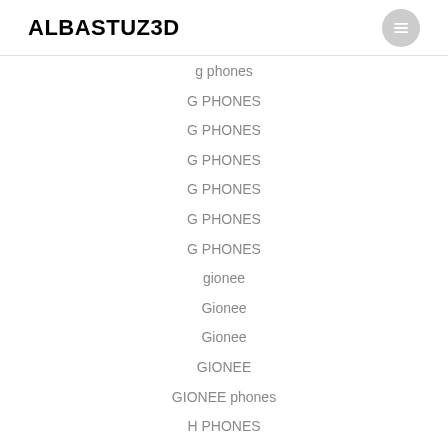ALBASTUZ3D
g phones
G PHONES
G PHONES
G PHONES
G PHONES
G PHONES
G PHONES
gionee
Gionee
Gionee
GIONEE
GIONEE phones
H PHONES
H PHONES